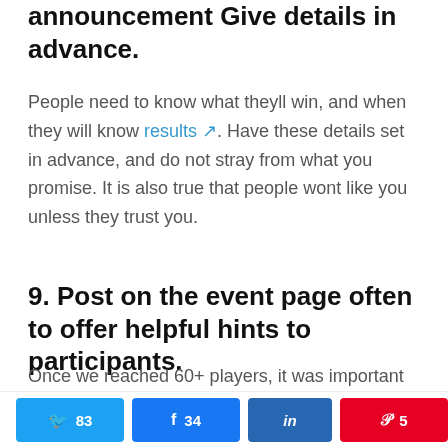announcement Give details in advance.
People need to know what theyll win, and when they will know results. Have these details set in advance, and do not stray from what you promise. It is also true that people wont like you unless they trust you.
9. Post on the event page often to offer helpful hints to participants.
Once we reached 60+ players, it was important to make sure details on game specifics were easily findable for players tracking their own progress, and also players new to the game.
83 Twitter shares | 34 Facebook shares | LinkedIn share | 5 Pinterest shares | 122 SHARES